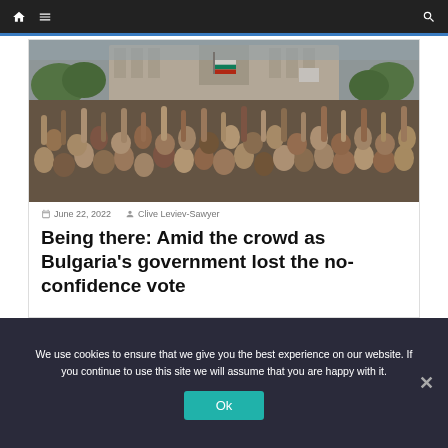Navigation bar with home, menu, and search icons
[Figure (photo): Crowd of protesters with raised hands in front of a government building, with Bulgarian flags visible]
June 22, 2022  Clive Leviev-Sawyer
Being there: Amid the crowd as Bulgaria's government lost the no-confidence vote
We use cookies to ensure that we give you the best experience on our website. If you continue to use this site we will assume that you are happy with it.